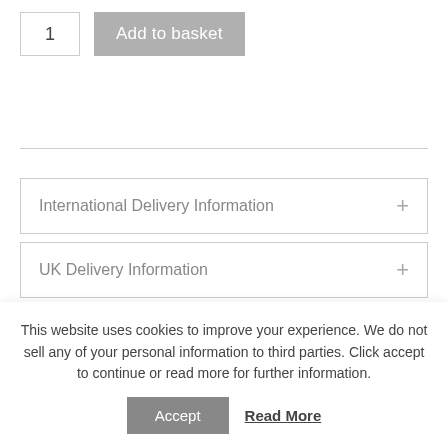1
Add to basket
International Delivery Information
UK Delivery Information
Purchase Information
This website uses cookies to improve your experience. We do not sell any of your personal information to third parties. Click accept to continue or read more for further information.
Accept
Read More